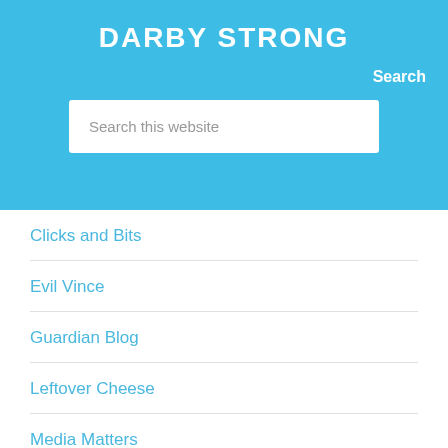DARBY STRONG
Search
Search this website
Clicks and Bits
Evil Vince
Guardian Blog
Leftover Cheese
Media Matters
Moon Phases